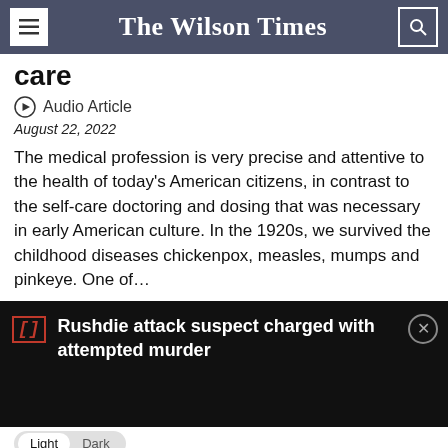The Wilson Times
care
Audio Article
August 22, 2022
The medical profession is very precise and attentive to the health of today's American citizens, in contrast to the self-care doctoring and dosing that was necessary in early American culture. In the 1920s, we survived the childhood diseases chickenpox, measles, mumps and pinkeye. One of…
Rushdie attack suspect charged with attempted murder
We already have a problem of young adults well into their 20s and 30s still tethered to their parents' homes